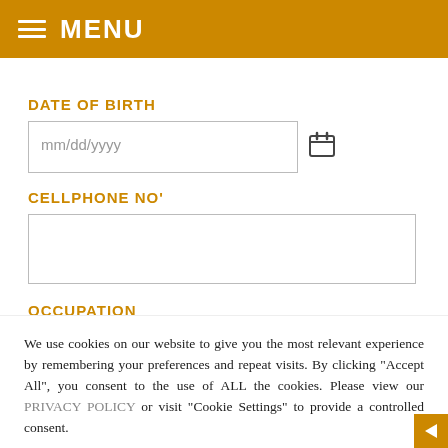MENU
DATE OF BIRTH
mm/dd/yyyy
CELLPHONE NO'
OCCUPATION
We use cookies on our website to give you the most relevant experience by remembering your preferences and repeat visits. By clicking "Accept All", you consent to the use of ALL the cookies. Please view our PRIVACY POLICY or visit "Cookie Settings" to provide a controlled consent.
Cookie Settings
Accept All